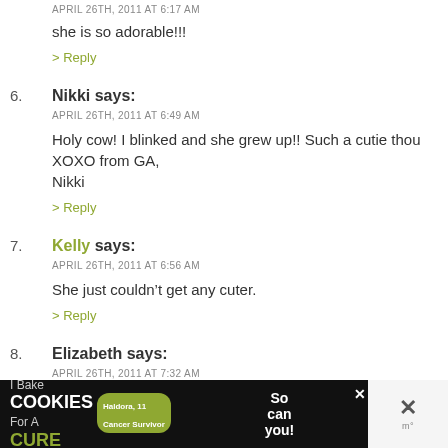she is so adorable!!!
> Reply
6. Nikki says:
APRIL 26TH, 2011 AT 6:49 AM
Holy cow! I blinked and she grew up!! Such a cutie thou
XOXO from GA,
Nikki
> Reply
7. Kelly says:
APRIL 26TH, 2011 AT 6:56 AM
She just couldn’t get any cuter.
> Reply
8. Elizabeth says:
APRIL 26TH, 2011 AT 7:32 AM
[Figure (infographic): Advertisement banner at bottom: 'I Bake COOKIES For A CURE - Haldora, 11 Cancer Survivor - So can you! cookies for kids cancer' with close buttons]